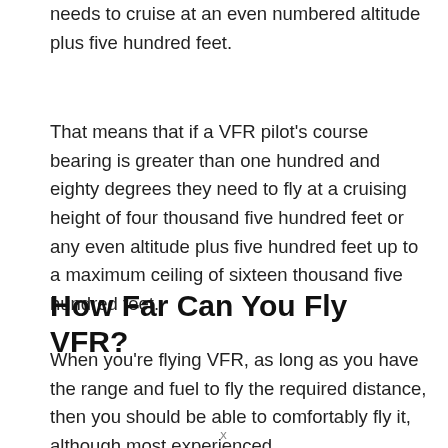needs to cruise at an even numbered altitude plus five hundred feet.
That means that if a VFR pilot's course bearing is greater than one hundred and eighty degrees they need to fly at a cruising height of four thousand five hundred feet or any even altitude plus five hundred feet up to a maximum ceiling of sixteen thousand five hundred feet.
How Far Can You Fly VFR?
When you're flying VFR, as long as you have the range and fuel to fly the required distance, then you should be able to comfortably fly it, although most experienced
x